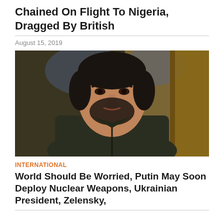Chained On Flight To Nigeria, Dragged By British
August 15, 2019
[Figure (photo): A man with dark hair and beard wearing an olive/dark green jacket, photographed indoors in front of a decorative wall with a wooden frame visible. This appears to be Ukrainian President Zelensky.]
INTERNATIONAL
World Should Be Worried, Putin May Soon Deploy Nuclear Weapons, Ukrainian President, Zelensky,